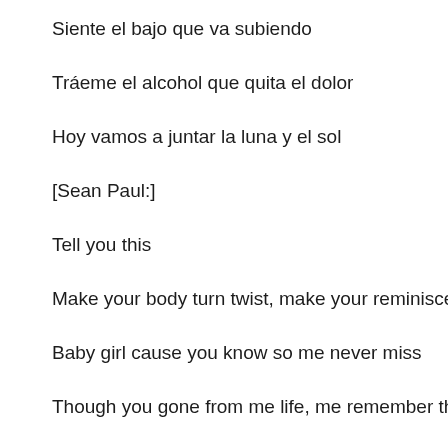Siente el bajo que va subiendo
Tráeme el alcohol que quita el dolor
Hoy vamos a juntar la luna y el sol
[Sean Paul:]
Tell you this
Make your body turn twist, make your reminisce
Baby girl cause you know so me never miss
Though you gone from me life, me remember this